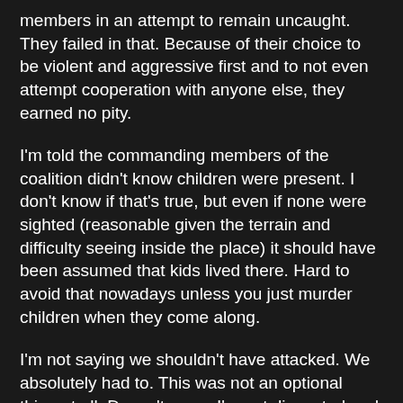members in an attempt to remain uncaught. They failed in that. Because of their choice to be violent and aggressive first and to not even attempt cooperation with anyone else, they earned no pity.
I'm told the commanding members of the coalition didn't know children were present. I don't know if that's true, but even if none were sighted (reasonable given the terrain and difficulty seeing inside the place) it should have been assumed that kids lived there. Hard to avoid that nowadays unless you just murder children when they come along.
I'm not saying we shouldn't have attacked. We absolutely had to. This was not an optional thing at all. Doesn't mean I'm not disgusted and angry about the results. I am. You can do a terrible thing and know that it was required, and know that you would do it all over again. Ultimately the Hunters knew that we would have left them in peace if they had done so to us and the other communities they attacked.
There's not much left to say. It hurts so much, knowing so many people died to preserve even more lives. It's shitty and